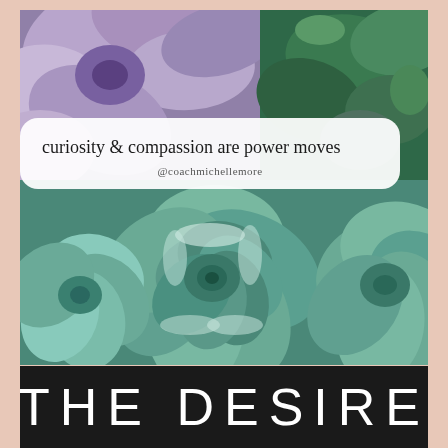[Figure (photo): Close-up photograph of succulent plants. Top portion shows purple/lavender succulents and green succulents. Bottom portion shows teal/mint colored succulent rosettes.]
curiosity & compassion are power moves
@coachmichellemore
THE DESIRE